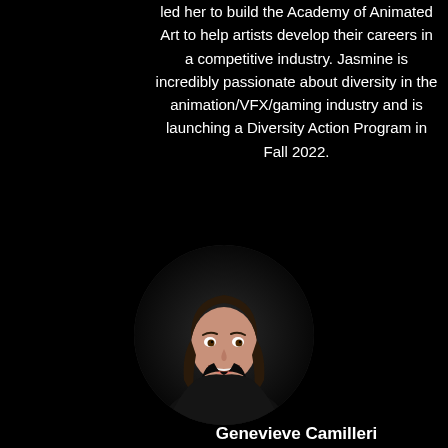led her to build the Academy of Animated Art to help artists develop their careers in a competitive industry. Jasmine is incredibly passionate about diversity in the animation/VFX/gaming industry and is launching a Diversity Action Program in Fall 2022.
[Figure (photo): Circular headshot portrait of Genevieve Camilleri, a woman with long dark hair wearing a black outfit, smiling, photographed against a dark background.]
Genevieve Camilleri